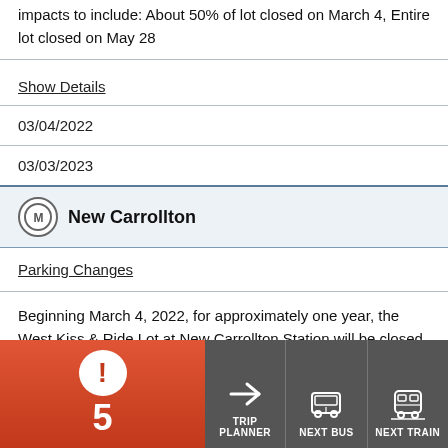impacts to include: About 50% of lot closed on March 4, Entire lot closed on May 28
Show Details
03/04/2022
03/03/2023
New Carrollton
Parking Changes
Beginning March 4, 2022, for approximately one year, the West Kiss & Ride Lot at New Carrollton Station will be closed due to construction staging for the Platform Improvement Project. Customers may use the East Kiss & Ride Lot and Park & Ride Lot during this time.
Show De...
03/04/20...
[Figure (infographic): Bottom navigation bar with alert indicator showing 5 alerts (red/orange background with exclamation icon), Trip Planner button (arrow icon), Next Bus button (bus icon), Next Train button (train icon)]